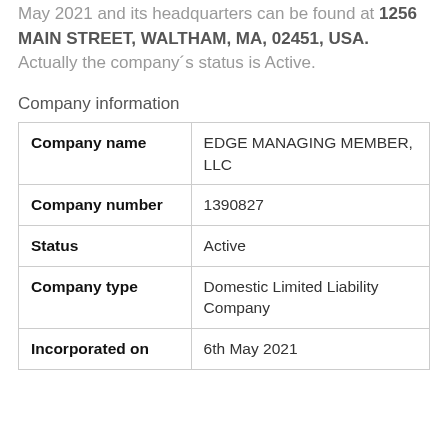May 2021 and its headquarters can be found at 1256 MAIN STREET, WALTHAM, MA, 02451, USA. Actually the company's status is Active.
Company information
| Company name | EDGE MANAGING MEMBER, LLC |
| Company number | 1390827 |
| Status | Active |
| Company type | Domestic Limited Liability Company |
| Incorporated on | 6th May 2021 |